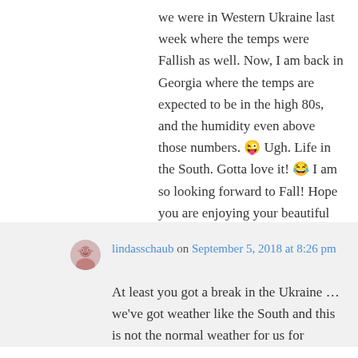we were in Western Ukraine last week where the temps were Fallish as well. Now, I am back in Georgia where the temps are expected to be in the high 80s, and the humidity even above those numbers. 😜 Ugh. Life in the South. Gotta love it! 😂 I am so looking forward to Fall! Hope you are enjoying your beautiful weather! 😊💕
★ Liked by 1 person
↳ Reply
lindasschaub on September 5, 2018 at 8:26 pm
At least you got a break in the Ukraine … we've got weather like the South and this is not the normal weather for us for